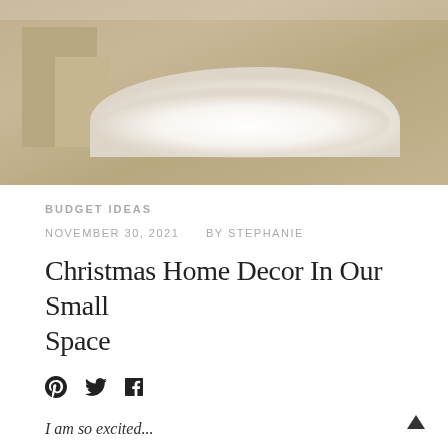[Figure (photo): Photo of a fluffy white faux fur rug on a wood floor with wrapped kraft paper boxes in the background]
BUDGET IDEAS
NOVEMBER 30, 2021   BY STEPHANIE
Christmas Home Decor In Our Small Space
[Figure (other): Social share icons: Pinterest, Twitter, Facebook]
I am so excited...